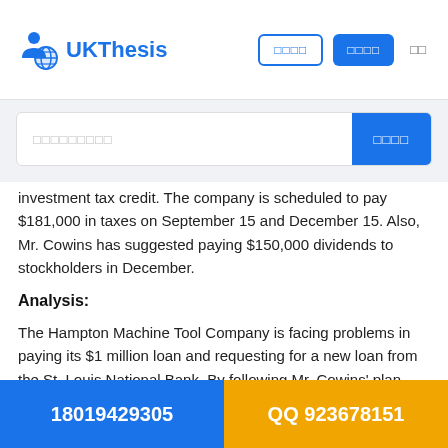UKThesis
investment tax credit. The company is scheduled to pay $181,000 in taxes on September 15 and December 15. Also, Mr. Cowins has suggested paying $150,000 dividends to stockholders in December.
Analysis:
The Hampton Machine Tool Company is facing problems in paying its $1 million loan and requesting for a new loan from the St. Louis National Bank. By following Mr. Cowins' plan, the company will be short $332,000 (Exhibit 1) in December. Hampton, a profitable firm, has fallen behind on
18019429305   QQ 923678151